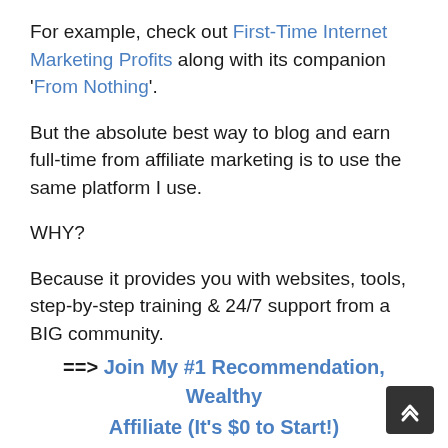For example, check out First-Time Internet Marketing Profits along with its companion 'From Nothing'.
But the absolute best way to blog and earn full-time from affiliate marketing is to use the same platform I use.
WHY?
Because it provides you with websites, tools, step-by-step training & 24/7 support from a BIG community.
Basically, everything is under one roof for massive affiliate marketing success...
==> Join My #1 Recommendation, Wealthy Affiliate (It's $0 to Start!)